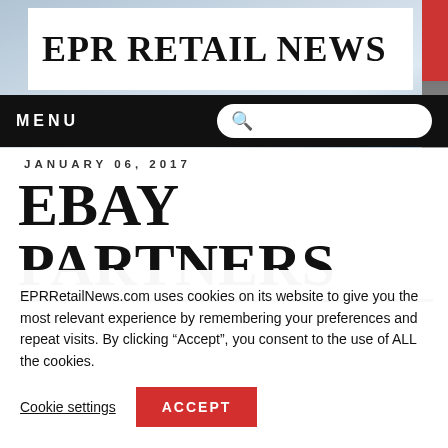[Figure (photo): Background photo of a retail or office interior with blurred shelving/displays]
EPR RETAIL NEWS
MENU
JANUARY 06, 2017
EBAY PARTNERS
EPRRetailNews.com uses cookies on its website to give you the most relevant experience by remembering your preferences and repeat visits. By clicking “Accept”, you consent to the use of ALL the cookies.
Cookie settings
ACCEPT